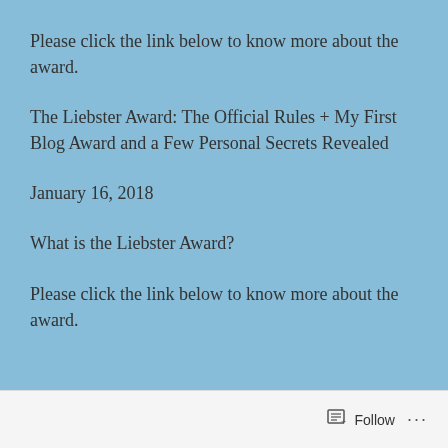Please click the link below to know more about the award.
The Liebster Award: The Official Rules + My First Blog Award and a Few Personal Secrets Revealed
January 16, 2018
What is the Liebster Award?
Please click the link below to know more about the award.
Follow ...